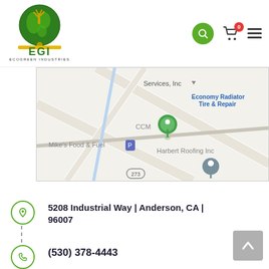[Figure (logo): EcoGreen Industries (EGI) logo with green globe/tree and gold bar]
[Figure (map): Google Maps screenshot showing CCM location near Mike's Food & Fuel, Harbert Roofing Inc, Economy Radiator Tire & Repair, Services Inc, route 273]
5208 Industrial Way | Anderson, CA | 96007
(530) 378-4443